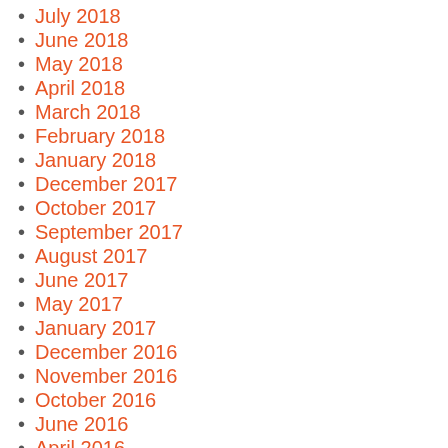July 2018
June 2018
May 2018
April 2018
March 2018
February 2018
January 2018
December 2017
October 2017
September 2017
August 2017
June 2017
May 2017
January 2017
December 2016
November 2016
October 2016
June 2016
April 2016